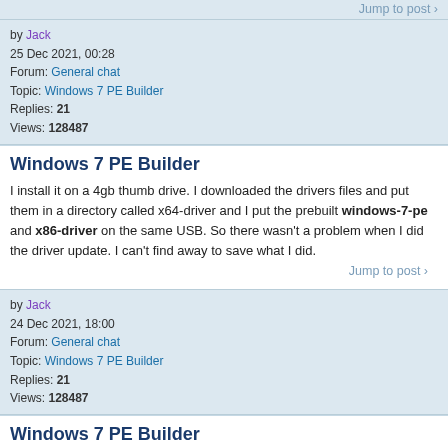Jump to post >
by Jack
25 Dec 2021, 00:28
Forum: General chat
Topic: Windows 7 PE Builder
Replies: 21
Views: 128487
Windows 7 PE Builder
I install it on a 4gb thumb drive. I downloaded the drivers files and put them in a directory called x64-driver and I put the prebuilt windows-7-pe and x86-driver on the same USB. So there wasn't a problem when I did the driver update. I can't find away to save what I did.
Jump to post >
by Jack
24 Dec 2021, 18:00
Forum: General chat
Topic: Windows 7 PE Builder
Replies: 21
Views: 128487
Windows 7 PE Builder
I downloaded one that was built. I try it the only thing is I updated all the hardware but don't know how to save it.

Here is the link to it. https://archive.org/details/7pe-x-64
Jump to post >
by Jack